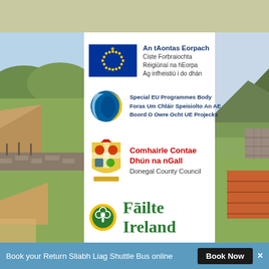[Figure (photo): Olive/sage green header bar at top of page]
[Figure (photo): Left side: landscape photo of Irish countryside with thatched roof cottage and green hills by coast]
[Figure (photo): Right side: landscape photo of Irish hillside with stone wall and fields]
[Figure (logo): EU flag logo (blue background with yellow stars circle) with text: An tAontas Eorpach, Ciste Forbraiochta, Réigiúnaí na hEorpa, Ag infheistiú i do dhán]
[Figure (logo): Special EU Programmes Body logo (blue/yellow globe sphere) with text: Special EU Programmes Body, Foras Um Chláir Speisiolto An AE, Boord O Owre Ocht UE Projecks]
[Figure (logo): Donegal County Council coat of arms logo with text: Comhairle Contae Dhún na nGall, Donegal County Council]
[Figure (logo): Fáilte Ireland logo: shamrock icon in gold/green circle with green text Fāilte Ireland]
Book your Return Sliabh Liag Shuttle Bus online
Book Now